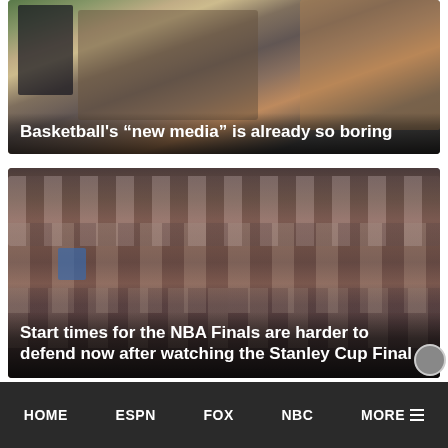[Figure (photo): Photo of sports talk show hosts at a desk/outdoor set. Two men visible, one in dark suit, one in light sweater.]
Basketball's “new media” is already so boring
[Figure (photo): Photo of Colorado Avalanche hockey team celebrating with Stanley Cup championship hats and gear, raising #1 fingers.]
Start times for the NBA Finals are harder to defend now after watching the Stanley Cup Final
HOME   ESPN   FOX   NBC   MORE ☰